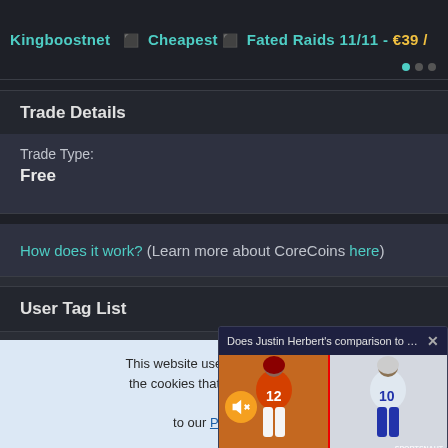[Figure (screenshot): Top ad banner showing Kingboostnet advertisement for Cheapest Fated Raids 11/11 - €39]
Trade Details
Trade Type:
Free
How does it work? (Learn more about CoreCoins here)
User Tag List
Thread: Back 4 Blood Ch...
This website uses cookies. O... the cookies that are used. B...
to our Privac...
[Figure (screenshot): Ad popup overlay: Does Justin Herbert's comparison to TB... with close button, showing two football players - one in orange jersey #12 and one in white jersey #10]